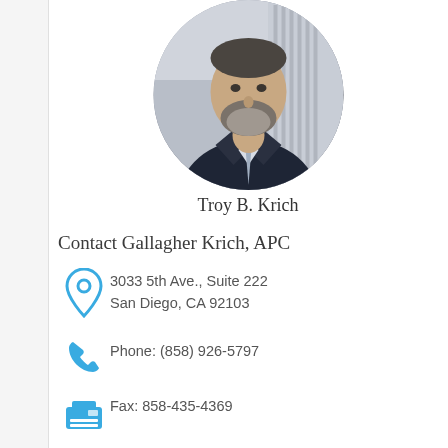[Figure (photo): Professional headshot of Troy B. Krich, a middle-aged man with grey beard wearing a dark suit and light blue tie, shown in a circular crop.]
Troy B. Krich
Contact Gallagher Krich, APC
3033 5th Ave., Suite 222
San Diego, CA 92103
Phone: (858) 926-5797
Fax: 858-435-4369